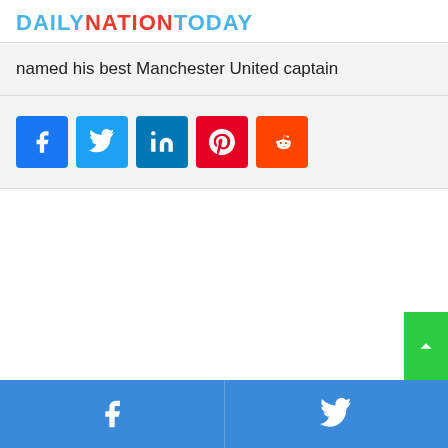DAILYNATIONTODAY
named his best Manchester United captain
[Figure (infographic): Social share buttons: Facebook (blue), Twitter (light blue), LinkedIn (dark blue), Pinterest (red), Reddit (orange)]
[Figure (infographic): Bottom footer bar with Facebook and Twitter share icons on blue background, and a green scroll-to-top button]